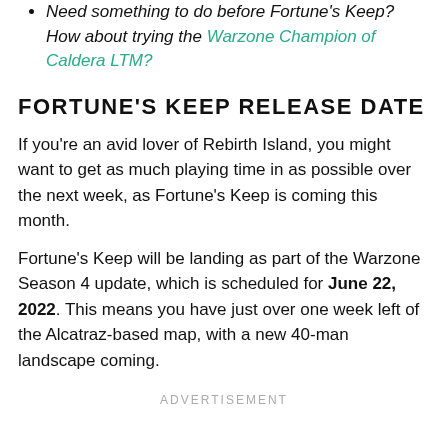Need something to do before Fortune's Keep? How about trying the Warzone Champion of Caldera LTM?
FORTUNE'S KEEP RELEASE DATE
If you're an avid lover of Rebirth Island, you might want to get as much playing time in as possible over the next week, as Fortune's Keep is coming this month.
Fortune's Keep will be landing as part of the Warzone Season 4 update, which is scheduled for June 22, 2022. This means you have just over one week left of the Alcatraz-based map, with a new 40-man landscape coming.
ADVERTISEMENT